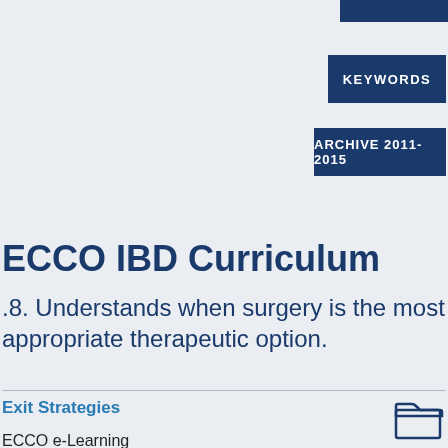KEYWORDS
ARCHIVE 2011-2015
ECCO IBD Curriculum
.8. Understands when surgery is the most ppropriate therapeutic option.
Exit Strategies
ECCO e-Learning
Year: 2017
Authors: Johan Burisch, Ren Mao, Edyta Szymanska, Glen Doherty